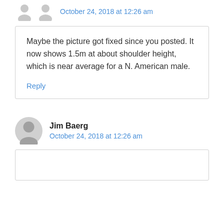October 24, 2018 at 12:26 am
Maybe the picture got fixed since you posted. It now shows 1.5m at about shoulder height, which is near average for a N. American male.
Reply
Jim Baerg
October 24, 2018 at 12:26 am